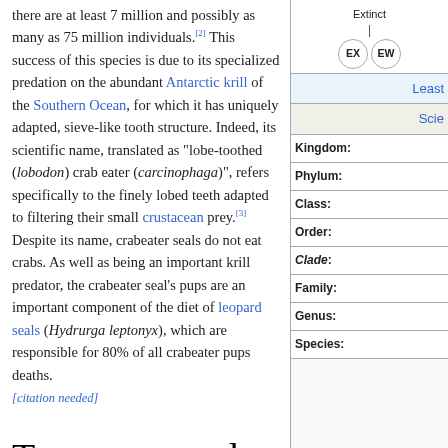there are at least 7 million and possibly as many as 75 million individuals.[2] This success of this species is due to its specialized predation on the abundant Antarctic krill of the Southern Ocean, for which it has uniquely adapted, sieve-like tooth structure. Indeed, its scientific name, translated as "lobe-toothed (lobodon) crab eater (carcinophaga)", refers specifically to the finely lobed teeth adapted to filtering their small crustacean prey.[3] Despite its name, crabeater seals do not eat crabs. As well as being an important krill predator, the crabeater seal's pups are an important component of the diet of leopard seals (Hydrurga leptonyx), which are responsible for 80% of all crabeater pups deaths. [citation needed]
Taxonomy and evolution
[Figure (infographic): Wikipedia conservation status sidebar showing Extinct status indicators (EX, EW circles), Least Concern link, Scientific classification link, and taxonomy rows: Kingdom, Phylum, Class, Order, Clade, Family, Genus, Species]